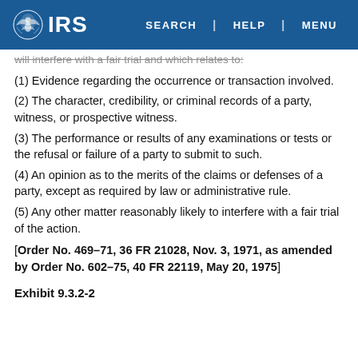IRS | SEARCH | HELP | MENU
will interfere with a fair trial and which relates to:
(1) Evidence regarding the occurrence or transaction involved.
(2) The character, credibility, or criminal records of a party, witness, or prospective witness.
(3) The performance or results of any examinations or tests or the refusal or failure of a party to submit to such.
(4) An opinion as to the merits of the claims or defenses of a party, except as required by law or administrative rule.
(5) Any other matter reasonably likely to interfere with a fair trial of the action.
[Order No. 469–71, 36 FR 21028, Nov. 3, 1971, as amended by Order No. 602–75, 40 FR 22119, May 20, 1975]
Exhibit 9.3.2-2